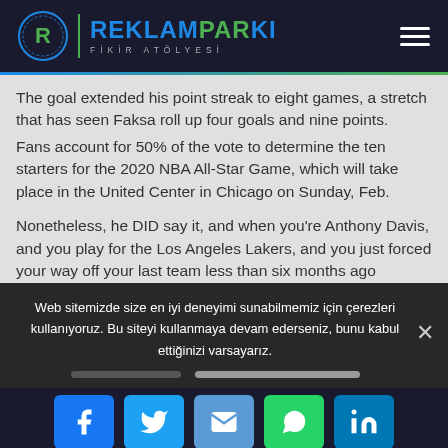REKLAMPARKI FİKİR ATÖLYESİ
The goal extended his point streak to eight games, a stretch that has seen Faksa roll up four goals and nine points.
Fans account for 50% of the vote to determine the ten starters for the 2020 NBA All-Star Game, which will take place in the United Center in Chicago on Sunday, Feb.
Nonetheless, he DID say it, and when you're Anthony Davis, and you play for the Los Angeles Lakers, and you just forced your way off your last team less than six months ago
Web sitemizde size en iyi deneyimi sunabilmemiz için çerezleri kullanıyoruz. Bu siteyi kullanmaya devam ederseniz, bunu kabul ettiğinizi varsayarız.
[Figure (infographic): Social media share buttons: Facebook, Twitter, Email, WhatsApp, LinkedIn]